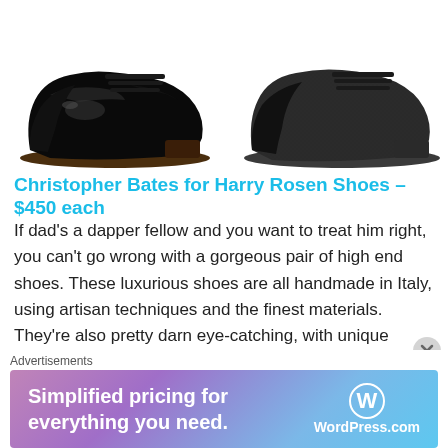[Figure (photo): Two dress shoes side by side — left shoe is a black patent leather Oxford, right shoe is a black velvet/suede Oxford. Both are Christopher Bates for Harry Rosen shoes photographed on white background.]
Christopher Bates for Harry Rosen Shoes – $450 each
If dad's a dapper fellow and you want to treat him right, you can't go wrong with a gorgeous pair of high end shoes. These luxurious shoes are all handmade in Italy, using artisan techniques and the finest materials. They're also pretty darn eye-catching, with unique details and materials, like high shine patent leather and sumptuous velvet. For the record, not only are these sleek footwear options from Christopher Bates available at Harry Rosen,
Advertisements
[Figure (screenshot): WordPress.com advertisement banner: 'Simplified pricing for everything you need.' with WordPress.com logo on gradient purple-blue background.]